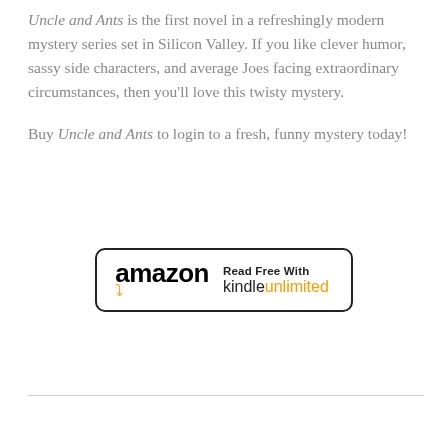Uncle and Ants is the first novel in a refreshingly modern mystery series set in Silicon Valley. If you like clever humor, sassy side characters, and average Joes facing extraordinary circumstances, then you'll love this twisty mystery.

Buy Uncle and Ants to login to a fresh, funny mystery today!
[Figure (logo): Amazon Kindle Unlimited button: 'amazon' logo with orange smile arrow, text 'Read Free With kindle unlimited']